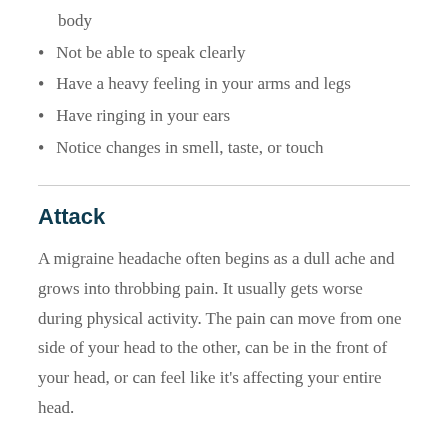body
Not be able to speak clearly
Have a heavy feeling in your arms and legs
Have ringing in your ears
Notice changes in smell, taste, or touch
Attack
A migraine headache often begins as a dull ache and grows into throbbing pain. It usually gets worse during physical activity. The pain can move from one side of your head to the other, can be in the front of your head, or can feel like it’s affecting your entire head.